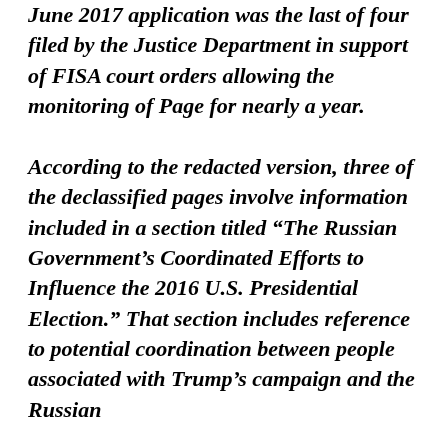June 2017 application was the last of four filed by the Justice Department in support of FISA court orders allowing the monitoring of Page for nearly a year.

According to the redacted version, three of the declassified pages involve information included in a section titled “The Russian Government’s Coordinated Efforts to Influence the 2016 U.S. Presidential Election.” That section includes reference to potential coordination between people associated with Trump’s campaign and the Russian